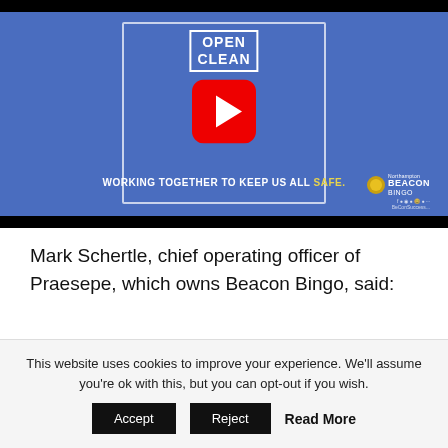[Figure (screenshot): YouTube-style video thumbnail showing a blue background with white border box, 'OPEN CLEAN' text, red YouTube play button, text 'WORKING TOGETHER TO KEEP US ALL SAFE.' and Northampton Beacon Bingo logo]
Mark Schertle, chief operating officer of Praesepe, which owns Beacon Bingo, said:
This website uses cookies to improve your experience. We'll assume you're ok with this, but you can opt-out if you wish. Accept Reject Read More